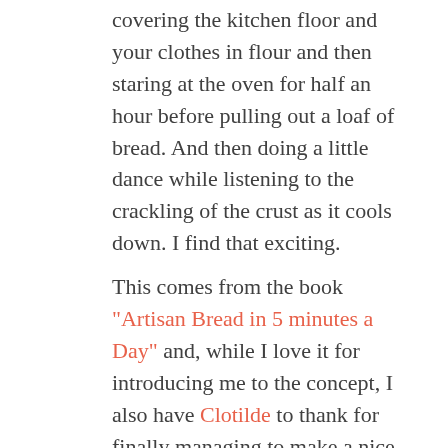covering the kitchen floor and your clothes in flour and then staring at the oven for half an hour before pulling out a loaf of bread. And then doing a little dance while listening to the crackling of the crust as it cools down. I find that exciting.
This comes from the book "Artisan Bread in 5 minutes a Day" and, while I love it for introducing me to the concept, I also have Clotilde to thank for finally managing to make a nice loaf of bread. After many failed attempts, I read this and realised the obvious thing: I had been severely underflouring my dough.
The consistency of my doughs still varies, but most of my loaves now are successful. The